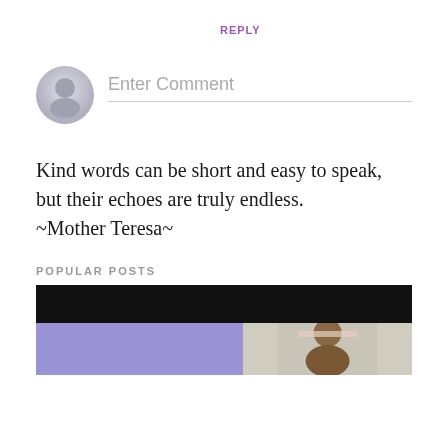REPLY
[Figure (illustration): Gray circular avatar/user icon for comment input area]
Enter Comment
Kind words can be short and easy to speak, but their echoes are truly endless.
~Mother Teresa~
POPULAR POSTS
[Figure (photo): A photo showing a dark top bar and below it a purple background on the left and a person with a headband on the right]